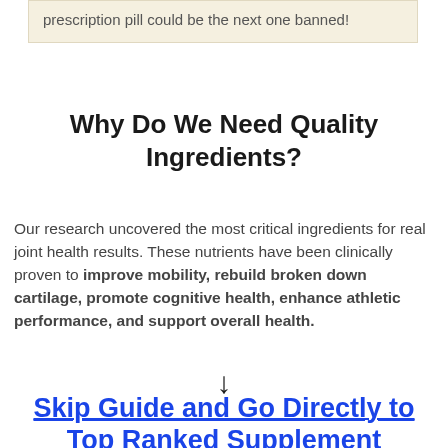prescription pill could be the next one banned!
Why Do We Need Quality Ingredients?
Our research uncovered the most critical ingredients for real joint health results. These nutrients have been clinically proven to improve mobility, rebuild broken down cartilage, promote cognitive health, enhance athletic performance, and support overall health.
↓
Skip Guide and Go Directly to Top Ranked Supplement